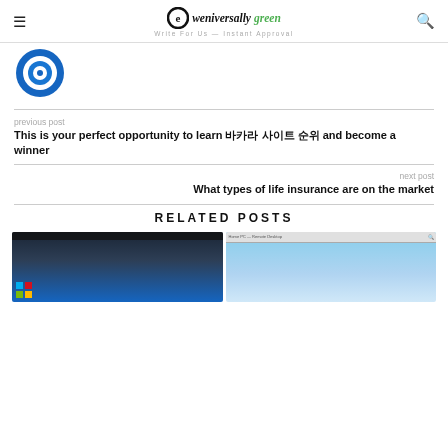eweniversally green — Write For Us — Instant Approval
[Figure (logo): Blue concentric circles logo]
previous post
This is your perfect opportunity to learn 바카라 사이트 순위 and become a winner
next post
What types of life insurance are on the market
RELATED POSTS
[Figure (screenshot): Two screenshots side by side: left shows Windows 10 desktop, right shows remote desktop window with blue sky background]